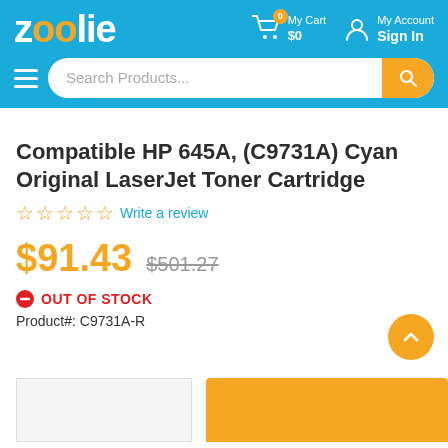zoolie — My Cart $0, My Account Sign In
Search Products...
Compatible HP 645A, (C9731A) Cyan Original LaserJet Toner Cartridge
☆☆☆☆☆ Write a review
$91.43  $501.27
⊗ OUT OF STOCK
Product#: C9731A-R